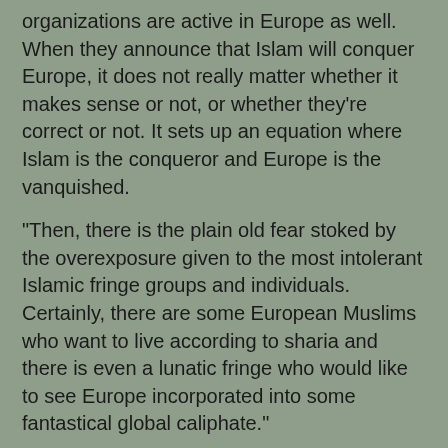organizations are active in Europe as well. When they announce that Islam will conquer Europe, it does not really matter whether it makes sense or not, or whether they're correct or not. It sets up an equation where Islam is the conqueror and Europe is the vanquished.
"Then, there is the plain old fear stoked by the overexposure given to the most intolerant Islamic fringe groups and individuals. Certainly, there are some European Muslims who want to live according to sharia and there is even a lunatic fringe who would like to see Europe incorporated into some fantastical global caliphate."
Is it just overexposure?
Though most of the Muslims who say that Islam would conquer Europe do not live in Europe, they are very active in Europe and some claim to represent European Muslims. Al-Qaradawi, a Muslim Brotherhood ideologue, heads the European Fatwa Council and runs the Islam Online website, which has a special section for European Muslims. The Muslim Brotherhood does have branches in Europe. Tariq